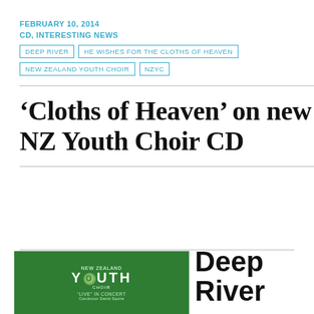FEBRUARY 10, 2014
CD, INTERESTING NEWS
DEEP RIVER
HE WISHES FOR THE CLOTHS OF HEAVEN
NEW ZEALAND YOUTH CHOIR
NZYC
‘Cloths of Heaven’ on new NZ Youth Choir CD
[Figure (photo): Green CD album cover for New Zealand Youth Choir 'Live in Concert', conductor David Squire]
Deep River